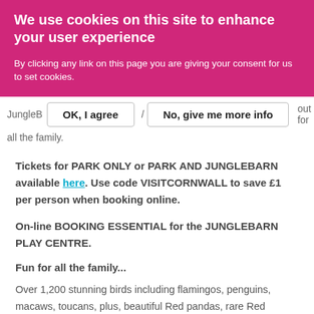We use cookies on this site to enhance your user experience
By clicking any link on this page you are giving your consent for us to set cookies.
JungleB... OK, I agree / No, give me more info ...out for all the family.
Tickets for PARK ONLY or PARK AND JUNGLEBARN available here. Use code VISITCORNWALL to save £1 per person when booking online.
On-line BOOKING ESSENTIAL for the JUNGLEBARN PLAY CENTRE.
Fun for all the family...
Over 1,200 stunning birds including flamingos, penguins, macaws, toucans, plus, beautiful Red pandas, rare Red squirrels, tiny Harvest Mice, cute donkeys and much more.